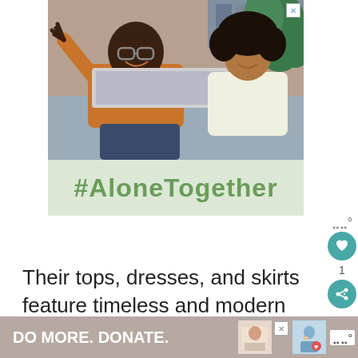[Figure (photo): Screenshot of a webpage featuring an ad with a photo of a man waving at a laptop with a girl beside him, with a #AloneTogether banner beneath the photo on a light green background. Social interaction icons (heart, share) on the right sidebar. Article text below reading 'Their tops, dresses, and skirts feature timeless and modern silhouettes and long lasting materials that will stand the test of'. Bottom ad bar with 'DO MORE. DONATE.' text.]